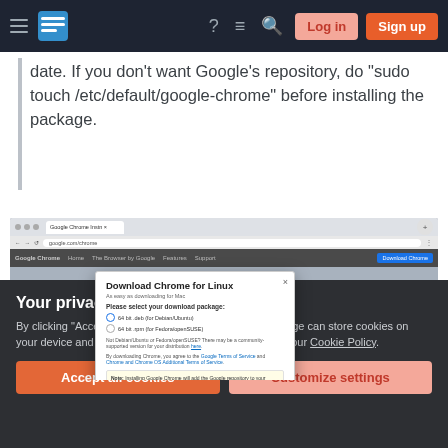Stack Exchange navigation bar with hamburger menu, logo, help, chat, search icons, Log in and Sign up buttons
date. If you don't want Google's repository, do “sudo touch /etc/default/google-chrome” before installing the package.
[Figure (screenshot): Screenshot of Google Chrome download page for Linux showing a dialog box titled 'Download Chrome for Linux' with package selection options and a note about adding the Google repository. The dialog has an 'Accept and Install' button.]
Your privacy
By clicking “Accept all cookies”, you agree Stack Exchange can store cookies on your device and disclose information in accordance with our Cookie Policy.
Accept all cookies
Customize settings